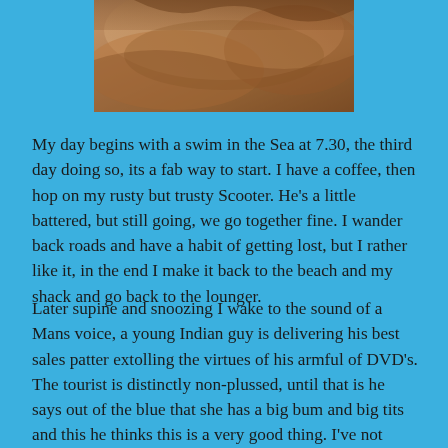[Figure (photo): Close-up photo of a sandy/rocky surface in warm brown tones, cropped at top of page]
My day begins with a swim in the Sea at 7.30, the third day doing so, its a fab way to start. I have a coffee, then hop on my rusty but trusty Scooter. He's a little battered, but still going, we go together fine. I wander back roads and have a habit of getting lost, but I rather like it, in the end I make it back to the beach and my shack and go back to the lounger.
Later supine and snoozing I wake to the sound of a Mans voice, a young Indian guy is delivering his best sales patter extolling the virtues of his armful of DVD's. The tourist is distinctly non-plussed, until that is he says out of the blue that she has a big bum and big tits and this he thinks this is a very good thing. I've not heard this approach in product sales before and I wonder how she will react, the tourist perks up, laughs and becons the